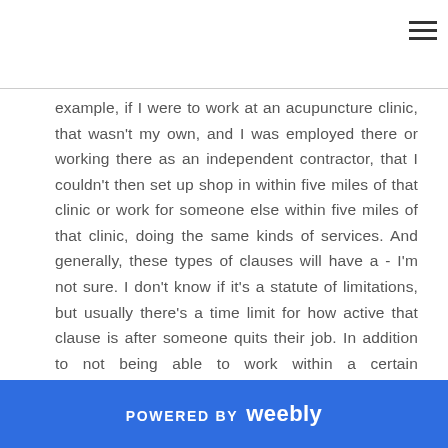≡
example, if I were to work at an acupuncture clinic, that wasn't my own, and I was employed there or working there as an independent contractor, that I couldn't then set up shop in within five miles of that clinic or work for someone else within five miles of that clinic, doing the same kinds of services. And generally, these types of clauses will have a - I'm not sure. I don't know if it's a statute of limitations, but usually there's a time limit for how active that clause is after someone quits their job. In addition to not being able to work within a certain geographical radius of the clinic that you're employed at, it usually includes some kind of restriction on the patients that you see.
POWERED BY weebly